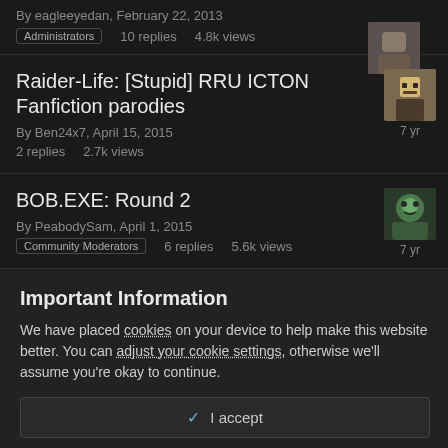By eagleeyedan, February 22, 2013 | Administrators | 10 replies | 4.8k views | 7 yr
Raider-Life: [Stupid] RRU ICTON Fanfiction parodies
By Ben24x7, April 15, 2015 | 2 replies | 2.7k views | 7 yr
BOB.EXE: Round 2
By PeabodySam, April 1, 2015 | Community Moderators | 6 replies | 5.6k views | 7 yr
Important Information
We have placed cookies on your device to help make this website better. You can adjust your cookie settings, otherwise we'll assume you're okay to continue.
✓ I accept